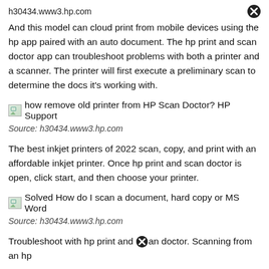h30434.www3.hp.com
And this model can cloud print from mobile devices using the hp app paired with an auto document. The hp print and scan doctor app can troubleshoot problems with both a printer and a scanner. The printer will first execute a preliminary scan to determine the docs it's working with.
[Figure (screenshot): Broken image icon followed by text: how remove old printer from HP Scan Doctor? HP Support]
Source: h30434.www3.hp.com
The best inkjet printers of 2022 scan, copy, and print with an affordable inkjet printer. Once hp print and scan doctor is open, click start, and then choose your printer.
[Figure (screenshot): Broken image icon followed by text: Solved How do I scan a document, hard copy or MS Word]
Source: h30434.www3.hp.com
Troubleshoot with hp print and scan doctor. Scanning from an hp